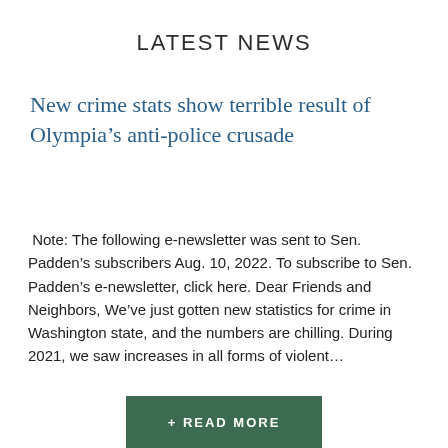LATEST NEWS
New crime stats show terrible result of Olympia’s anti-police crusade
Note: The following e-newsletter was sent to Sen. Padden’s subscribers Aug. 10, 2022. To subscribe to Sen. Padden’s e-newsletter, click here. Dear Friends and Neighbors, We’ve just gotten new statistics for crime in Washington state, and the numbers are chilling. During 2021, we saw increases in all forms of violent…
+ READ MORE